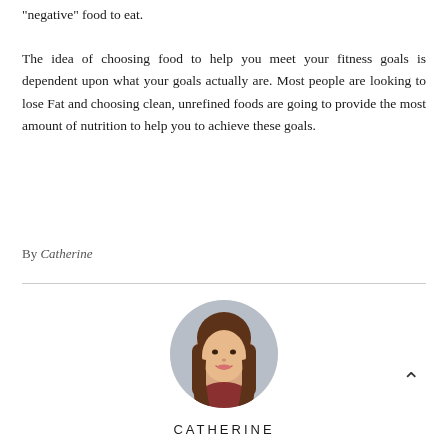“negative” food to eat.
The idea of choosing food to help you meet your fitness goals is dependent upon what your goals actually are. Most people are looking to lose Fat and choosing clean, unrefined foods are going to provide the most amount of nutrition to help you to achieve these goals.
By Catherine
[Figure (photo): Circular portrait photo of a young woman with long brown hair and a smile, author Catherine]
CATHERINE